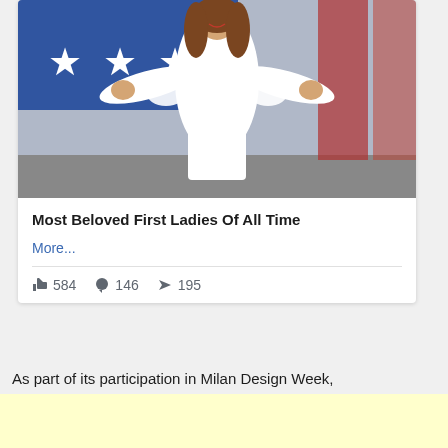[Figure (photo): Woman in white dress with arms outstretched on a stage, blue background with white stars, US flag visible]
Most Beloved First Ladies Of All Time
More...
👍 584  💬 146  ➤ 195
As part of its participation in Milan Design Week,
[Figure (other): Yellow/cream colored advertisement block]